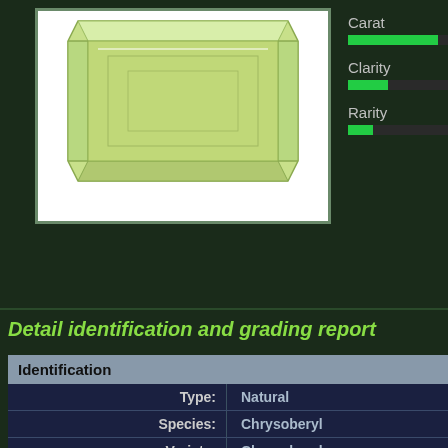[Figure (photo): A pale yellow-green chrysoberyl gemstone in emerald/rectangular step cut, shown on white background. The gem shows faceted parallel steps and corner cuts.]
[Figure (infographic): Ratings panel showing three metrics: Carat, Clarity, and Rarity each with a green progress bar indicating partial fill levels]
Detail identification and grading report
| Identification |
| --- |
| Type: | Natural |
| Species: | Chrysoberyl |
| Variety: | Chrysoberyl |